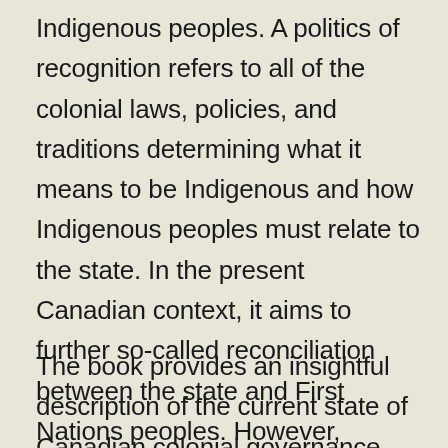Indigenous peoples. A politics of recognition refers to all of the colonial laws, policies, and traditions determining what it means to be Indigenous and how Indigenous peoples must relate to the state. In the present Canadian context, it aims to further so-called reconciliation between the state and First Nations peoples. However, because the colonizer sets the terms of this asymmetrical power relation, recognition cannot lead to a fundamental upending of colonial rule.
The book provides an insightful description of the current state of Canadian colonial governance, one that merges multiculturalism